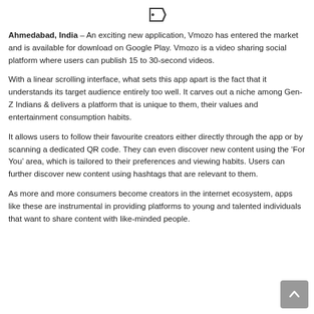[Figure (illustration): Small tag/label icon at the top center of the page]
Ahmedabad, India – An exciting new application, Vmozo has entered the market and is available for download on Google Play. Vmozo is a video sharing social platform where users can publish 15 to 30-second videos.
With a linear scrolling interface, what sets this app apart is the fact that it understands its target audience entirely too well. It carves out a niche among Gen-Z Indians & delivers a platform that is unique to them, their values and entertainment consumption habits.
It allows users to follow their favourite creators either directly through the app or by scanning a dedicated QR code. They can even discover new content using the ‘For You’ area, which is tailored to their preferences and viewing habits. Users can further discover new content using hashtags that are relevant to them.
As more and more consumers become creators in the internet ecosystem, apps like these are instrumental in providing platforms to young and talented individuals that want to share content with like-minded people.